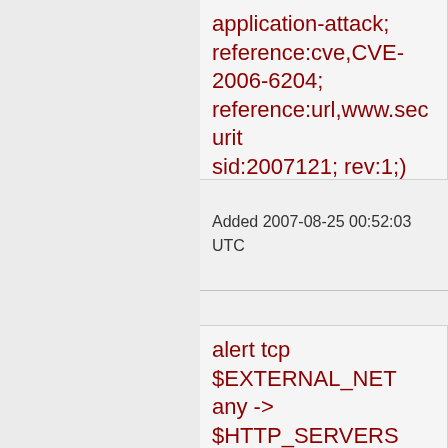application-attack; reference:cve,CVE-2006-6204; reference:url,www.securit sid:2007121; rev:1;)
Added 2007-08-25 00:52:03 UTC
alert tcp $EXTERNAL_NET any -> $HTTP_SERVERS $HTTP_PORTS (msg:"BLEEDING-EDGE WEB Enthrallweb eHomes SQL Injection Attempt -- compareHomes.asp